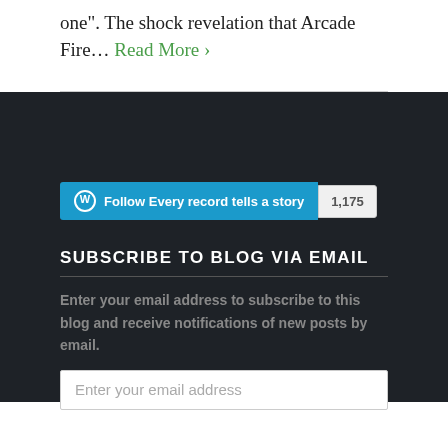one". The shock revelation that Arcade Fire… Read More ›
Follow Every record tells a story · 1,175
SUBSCRIBE TO BLOG VIA EMAIL
Enter your email address to subscribe to this blog and receive notifications of new posts by email.
Enter your email address